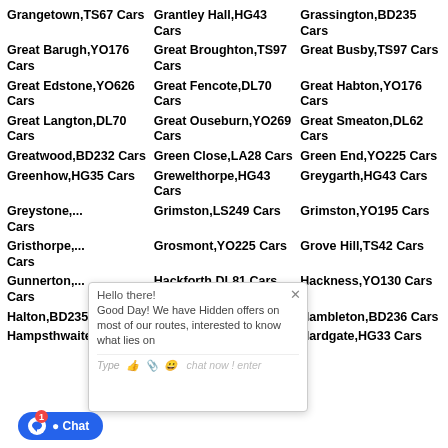Grangetown,TS67 Cars
Grantley Hall,HG43 Cars
Grassington,BD235 Cars
Great Barugh,YO176 Cars
Great Broughton,TS97 Cars
Great Busby,TS97 Cars
Great Edstone,YO626 Cars
Great Fencote,DL70 Cars
Great Habton,YO176 Cars
Great Langton,DL70 Cars
Great Ouseburn,YO269 Cars
Great Smeaton,DL62 Cars
Greatwood,BD232 Cars
Green Close,LA28 Cars
Green End,YO225 Cars
Greenhow,HG35 Cars
Grewelthorpe,HG43 Cars
Greygarth,HG43 Cars
Greystone,... Cars
Grimston,LS249 Cars
Grimston,YO195 Cars
Gristhorpe,... Cars
Grosmont,YO225 Cars
Grove Hill,TS42 Cars
Gunnerton,... Cars
Hackforth,DL81 Cars
Hackness,YO130 Cars
Halton,BD235 Cars
Hambleton,YO72 Cars
Hambleton,BD236 Cars
Hampsthwaite,HG32
Hampsthwaite
Hardgate,HG33 Cars